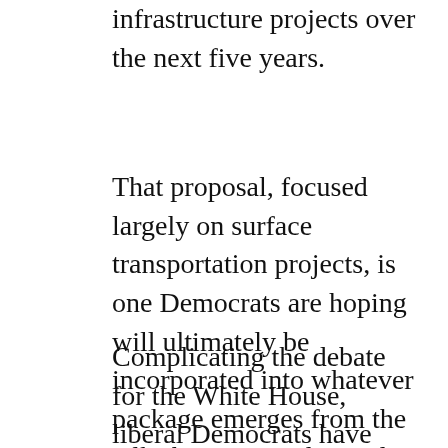markup of a $1.4 trillion package to fund infrastructure projects over the next five years.
That proposal, focused largely on surface transportation projects, is one Democrats are hoping will ultimately be incorporated into whatever package emerges from the talks between Biden and the Senate.
Complicating the debate for the White House, liberal Democrats have already run out of patience with the GOP negotiators, contending that Republicans are merely trying to drag out the talks to keep other Democratic priorities from being considered. The progressives are pressing Biden to abandon the bipartisan talks in favor of a massive infrastructure bill, which could avoid